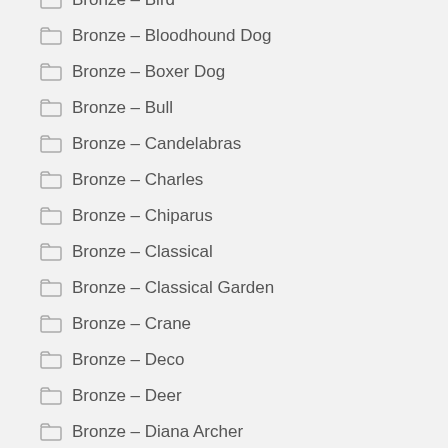Bronze – Bird
Bronze – Bloodhound Dog
Bronze – Boxer Dog
Bronze – Bull
Bronze – Candelabras
Bronze – Charles
Bronze – Chiparus
Bronze – Classical
Bronze – Classical Garden
Bronze – Crane
Bronze – Deco
Bronze – Deer
Bronze – Diana Archer
Bronze – Discus Thrower